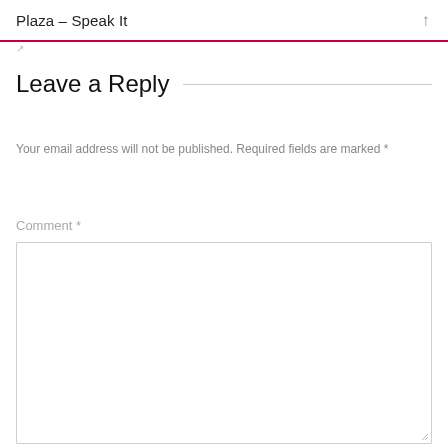Plaza – Speak It
Leave a Reply
Your email address will not be published. Required fields are marked *
Comment *